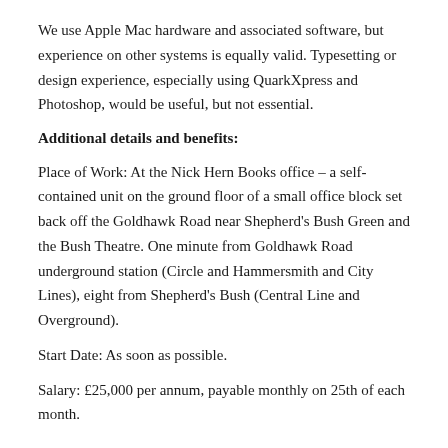We use Apple Mac hardware and associated software, but experience on other systems is equally valid. Typesetting or design experience, especially using QuarkXpress and Photoshop, would be useful, but not essential.
Additional details and benefits:
Place of Work: At the Nick Hern Books office – a self-contained unit on the ground floor of a small office block set back off the Goldhawk Road near Shepherd's Bush Green and the Bush Theatre. One minute from Goldhawk Road underground station (Circle and Hammersmith and City Lines), eight from Shepherd's Bush (Central Line and Overground).
Start Date: As soon as possible.
Salary: £25,000 per annum, payable monthly on 25th of each month.